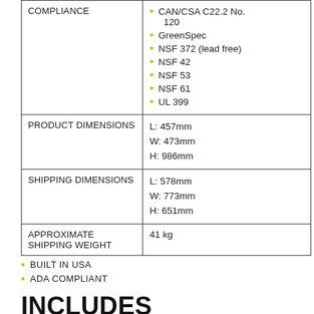|  |  |
| --- | --- |
| COMPLIANCE | CAN/CSA C22.2 No. 120
GreenSpec
NSF 372 (lead free)
NSF 42
NSF 53
NSF 61
UL 399 |
| PRODUCT DIMENSIONS | L: 457mm
W: 473mm
H: 986mm |
| SHIPPING DIMENSIONS | L: 578mm
W: 773mm
H: 651mm |
| APPROXIMATE SHIPPING WEIGHT | 41 kg |
BUILT IN USA
ADA COMPLIANT
INCLUDES
WATER COOLER (HVR9SMR340)